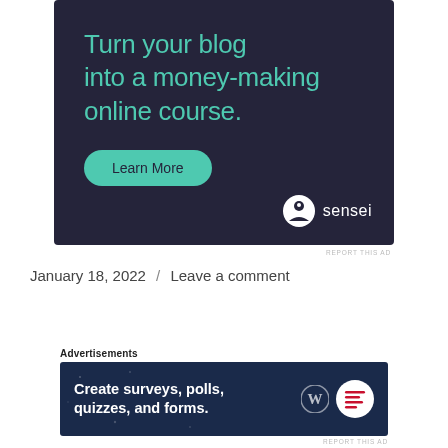[Figure (illustration): Dark navy advertisement banner for Sensei with teal headline text 'Turn your blog into a money-making online course.' and a teal 'Learn More' pill button, with Sensei logo bottom right.]
REPORT THIS AD
January 18, 2022  /  Leave a comment
Free Grief Workbook PDF
Advertisements
[Figure (illustration): Dark blue advertisement banner reading 'Create surveys, polls, quizzes, and forms.' with WordPress and survey tool logos on the right.]
REPORT THIS AD